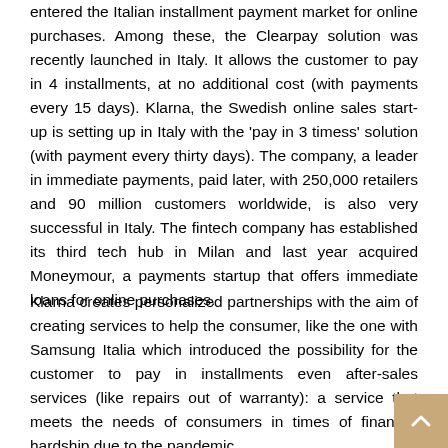entered the Italian installment payment market for online purchases. Among these, the Clearpay solution was recently launched in Italy. It allows the customer to pay in 4 installments, at no additional cost (with payments every 15 days). Klarna, the Swedish online sales start-up is setting up in Italy with the 'pay in 3 timess' solution (with payment every thirty days). The company, a leader in immediate payments, paid later, with 250,000 retailers and 90 million customers worldwide, is also very successful in Italy. The fintech company has established its third tech hub in Milan and last year acquired Moneymour, a payments startup that offers immediate loans for online purchases.
Klarna creates personalized partnerships with the aim of creating services to help the consumer, like the one with Samsung Italia which introduced the possibility for the customer to pay in installments even after-sales services (like repairs out of warranty): a service that meets the needs of consumers in times of financial hardship due to the pandemic.